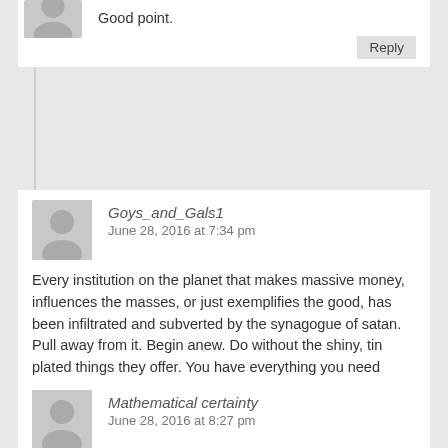Good point.
Reply
Goys_and_Gals1
June 28, 2016 at 7:34 pm
Every institution on the planet that makes massive money, influences the masses, or just exemplifies the good, has been infiltrated and subverted by the synagogue of satan. Pull away from it. Begin anew. Do without the shiny, tin plated things they offer. You have everything you need within.
Reply
Mathematical certainty
June 28, 2016 at 8:27 pm
STOP and REFLECT! Anyone born on or after 1/01/2000 will be 16 years old or older.